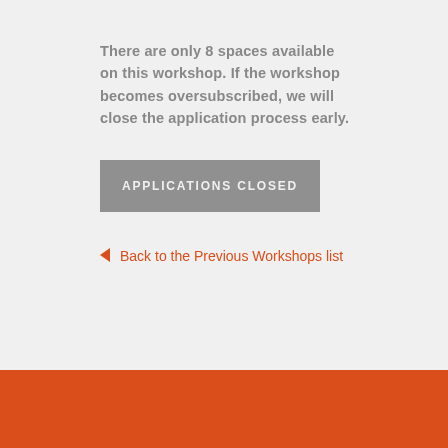There are only 8 spaces available on this workshop. If the workshop becomes oversubscribed, we will close the application process early.
APPLICATIONS CLOSED
← Back to the Previous Workshops list